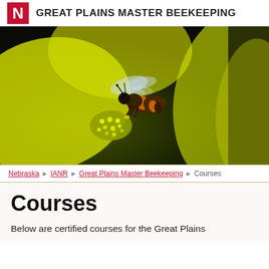GREAT PLAINS MASTER BEEKEEPING
[Figure (photo): Close-up macro photograph of a honeybee hovering over a yellow flower with pollen stamens, dark background]
Nebraska › IANR › Great Plains Master Beekeeping › Courses
Courses
Below are certified courses for the Great Plains